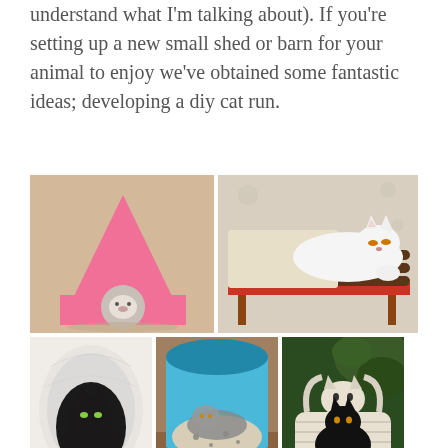understand what I'm talking about). If you're setting up a new small shed or barn for your animal to enjoy we've obtained some fantastic ideas; developing a diy cat run.
[Figure (photo): Collage of six cat-related DIY photos: pink fabric cat tent with hole entrance; white cat lying on a red mid-century modern style cat bed/daybed; black cat inside a white fabric cat cave/pod; cat inside a blue curved plastic litter box; black cat sitting in a woven rope cat basket shaped like a cat face; and a partial third row of images.]